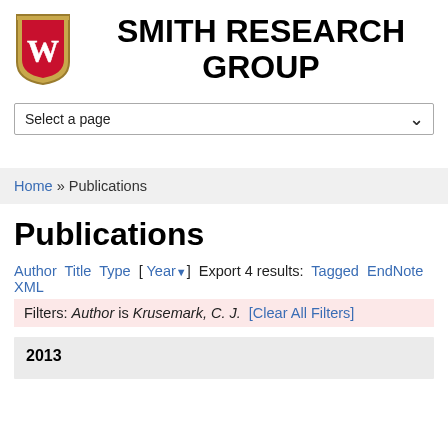[Figure (logo): University of Wisconsin-Madison crest/shield logo with red W on red background with gold border]
SMITH RESEARCH GROUP
Select a page
Home » Publications
Publications
Author Title Type [ Year ] Export 4 results: Tagged EndNote XML
Filters: Author is Krusemark, C. J. [Clear All Filters]
2013